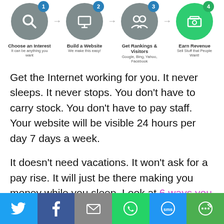[Figure (infographic): Four-step process infographic showing: 1) Choose an Interest (search icon, gray circle) - It can be anything you want; 2) Build a Website (monitor icon, gray circle) - We make this easy!; 3) Get Rankings & Visitors (people icon, gray circle) - Google, Bing, Yahoo, Facebook; 4) Earn Revenue (money icon, green circle) - Sell Stuff that People Want!]
Get the Internet working for you. It never sleeps. It never stops. You don't have to carry stock. You don't have to pay staff. Your website will be visible 24 hours per day 7 days a week.
It doesn't need vacations. It won't ask for a pay rise. It will just be there making you money while you sleep. Look at 6 ways you can make
[Figure (infographic): Social sharing bar with icons: Twitter (blue), Facebook (dark blue), Email (gray), WhatsApp (green), SMS (blue), More/share (green)]